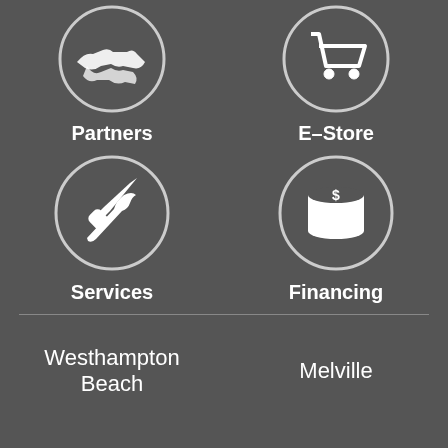[Figure (illustration): Circular icon with handshake symbol representing Partners]
[Figure (illustration): Circular icon with shopping cart symbol representing E-Store]
Partners
E-Store
[Figure (illustration): Circular icon with crossed screwdriver and wrench representing Services]
[Figure (illustration): Circular icon with dollar coin stack representing Financing]
Services
Financing
Westhampton Beach
Melville